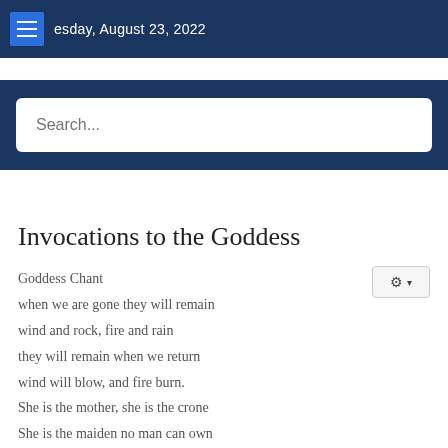esday, August 23, 2022
Search...
Invocations to the Goddess
Goddess Chant
when we are gone they will remain
wind and rock, fire and rain
they will remain when we return
wind will blow, and fire burn.
She is the mother, she is the crone
She is the maiden no man can own